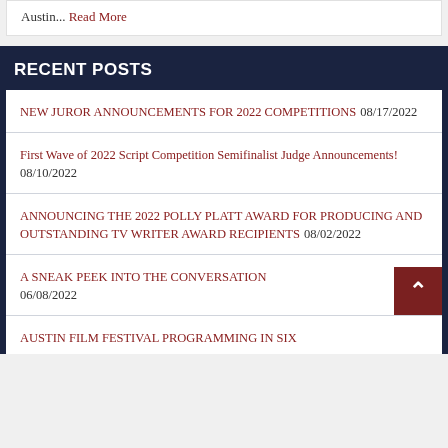Austin...  Read More
RECENT POSTS
NEW JUROR ANNOUNCEMENTS FOR 2022 COMPETITIONS 08/17/2022
First Wave of 2022 Script Competition Semifinalist Judge Announcements! 08/10/2022
ANNOUNCING THE 2022 POLLY PLATT AWARD FOR PRODUCING AND OUTSTANDING TV WRITER AWARD RECIPIENTS 08/02/2022
A SNEAK PEEK INTO THE CONVERSATION 06/08/2022
AUSTIN FILM FESTIVAL PROGRAMMING IN SIX